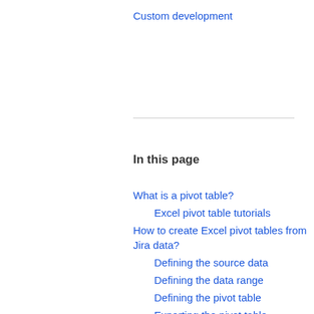Custom development
In this page
What is a pivot table?
Excel pivot table tutorials
How to create Excel pivot tables from Jira data?
Defining the source data
Defining the data range
Defining the pivot table
Exporting the pivot table
Working with the pivot table